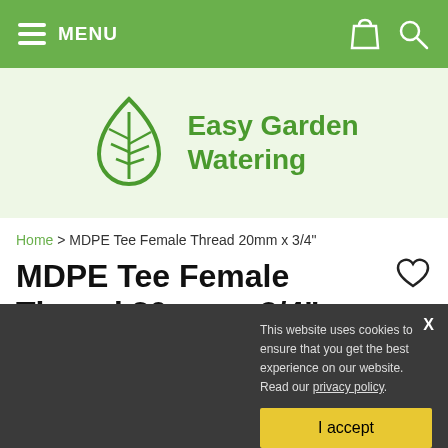MENU
[Figure (logo): Easy Garden Watering logo with green droplet icon containing a leaf design]
Home > MDPE Tee Female Thread 20mm x 3/4"
MDPE Tee Female Thread 20mm x 3/4"
by Plasson
This website uses cookies to ensure that you get the best experience on our website. Read our privacy policy. I accept